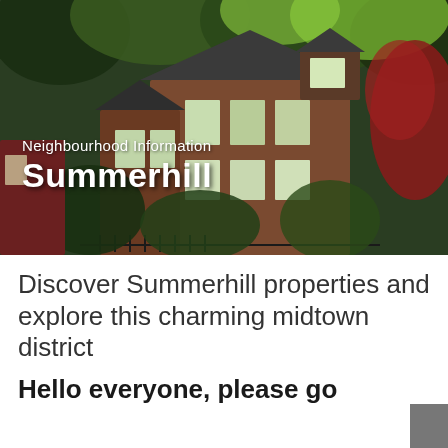[Figure (photo): Photograph of a brick Victorian-style house in Summerhill neighbourhood, surrounded by lush green and red trees. White overlay text reads 'Neighbourhood Information' and 'Summerhill'.]
Discover Summerhill properties and explore this charming midtown district
Hello everyone, please go